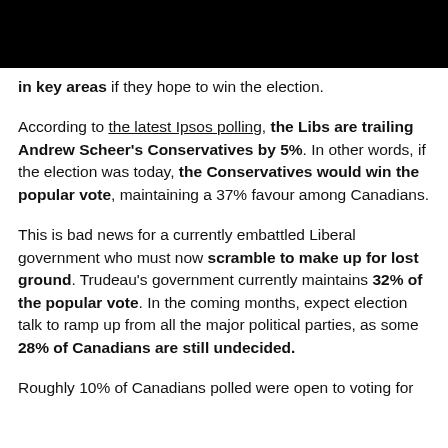…in key areas if they hope to win the election.
According to the latest Ipsos polling, the Libs are trailing Andrew Scheer's Conservatives by 5%. In other words, if the election was today, the Conservatives would win the popular vote, maintaining a 37% favour among Canadians.
This is bad news for a currently embattled Liberal government who must now scramble to make up for lost ground. Trudeau's government currently maintains 32% of the popular vote. In the coming months, expect election talk to ramp up from all the major political parties, as some 28% of Canadians are still undecided.
Roughly 10% of Canadians polled were open to voting for